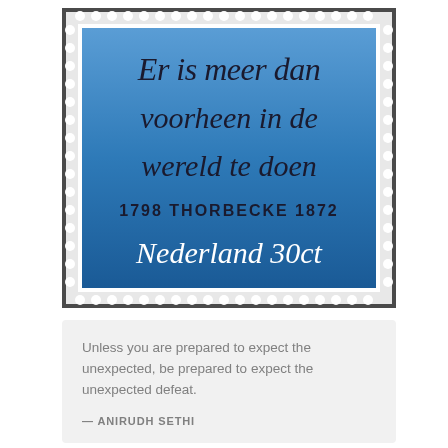[Figure (photo): A Dutch postage stamp with blue gradient background. In cursive/italic script it reads 'Er is meer dan voorheen in de wereld te doen'. Below in serif capitals: '1798 THORBECKE 1872'. At the bottom in white cursive: 'Nederland 30ct'. The stamp has a perforated white border and dark outer frame.]
Unless you are prepared to expect the unexpected, be prepared to expect the unexpected defeat.
— ANIRUDH SETHI